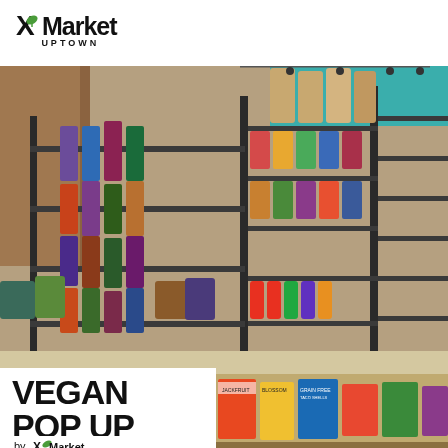[Figure (logo): XMarket Uptown logo with green leaf/X icon and bold sans-serif text]
[Figure (photo): Interior of XMarket Uptown grocery store showing shelves stocked with packaged goods, pasta, snacks, canned goods, sauces, vitamins and health products in colorful packaging. Metal shelving units with teal ceiling visible in background.]
VEGAN POP UP
by XMarket
[Figure (photo): Close-up of vegan product boxes and packaged foods including Jackfruit, Blossom brand items, grain-free taco shells, and other vegan specialty products on display.]
[Figure (photo): Bottom shelf strip showing refrigerated and packaged vegan products including Wicked Kitchen products, Chickpea brand items, frozen meals, and various plant-based foods.]